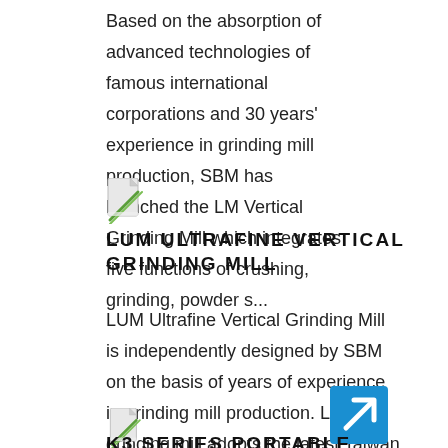Based on the absorption of advanced technologies of famous international corporations and 30 years' experience in grinding mill production, SBM has launched the LM Vertical Grinding Mill which integrates five functions of crushing, grinding, powder s...
[Figure (illustration): Small document/file icon with green and white design]
LUM ULTRAFINE VERTICAL GRINDING MILL
LUM Ultrafine Vertical Grinding Mill is independently designed by SBM on the basis of years of experience in grinding mill production. LUM grinding mill adopts the latest Taiwan grinding roller technology and German powder separating technology. The ...
[Figure (illustration): Blue square button with white arrow pointing upper-right (external link icon)]
[Figure (illustration): Small document/file icon with green and white design]
K3 SERIES PORTABLE CRUSHING...